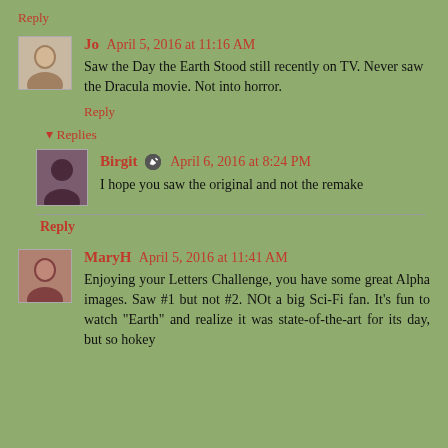Reply
Jo  April 5, 2016 at 11:16 AM
Saw the Day the Earth Stood still recently on TV. Never saw the Dracula movie. Not into horror.
Reply
▾ Replies
Birgit  April 6, 2016 at 8:24 PM
I hope you saw the original and not the remake
Reply
MaryH  April 5, 2016 at 11:41 AM
Enjoying your Letters Challenge, you have some great Alpha images. Saw #1 but not #2. NOt a big Sci-Fi fan. It's fun to watch "Earth" and realize it was state-of-the-art for its day, but so hokey